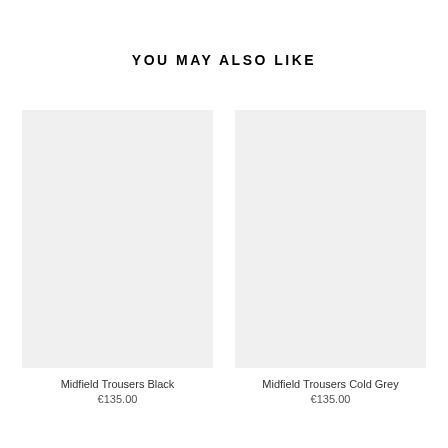YOU MAY ALSO LIKE
[Figure (photo): Product image placeholder for Midfield Trousers Black — light grey rectangle]
Midfield Trousers Black
€135.00
[Figure (photo): Product image placeholder for Midfield Trousers Cold Grey — light grey rectangle]
Midfield Trousers Cold Grey
€135.00